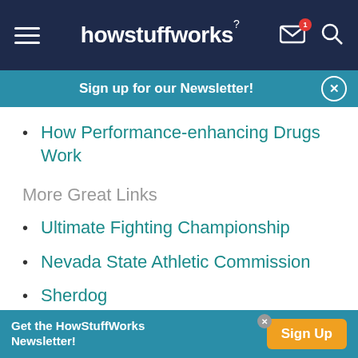howstuffworks
Sign up for our Newsletter!
How Performance-enhancing Drugs Work
More Great Links
Ultimate Fighting Championship
Nevada State Athletic Commission
Sherdog
MMAFighting.com
Get the HowStuffWorks Newsletter! Sign Up